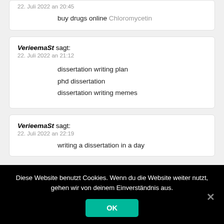22. Juli 2022 an 20:45
buy drugs online Chloromycetin
VerieemaSt sagt:
22. Juli 2022 an 21:12
dissertation writing plan
phd dissertation
dissertation writing memes
VerieemaSt sagt:
22. Juli 2022 an 22:19
writing a dissertation in a day
Diese Website benutzt Cookies. Wenn du die Website weiter nutzt, gehen wir von deinem Einverständnis aus.
OK